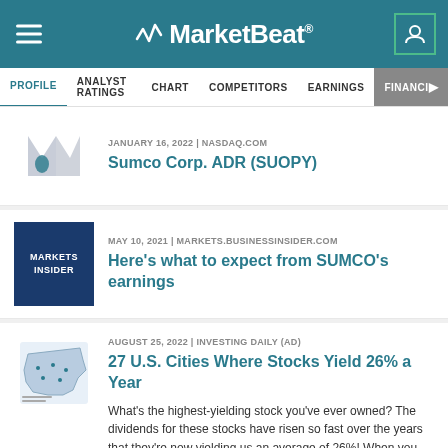MarketBeat
PROFILE | ANALYST RATINGS | CHART | COMPETITORS | EARNINGS | FINANCIALS
JANUARY 16, 2022 | NASDAQ.COM
Sumco Corp. ADR (SUOPY)
MAY 10, 2021 | MARKETS.BUSINESSINSIDER.COM
Here's what to expect from SUMCO's earnings
AUGUST 25, 2022 | INVESTING DAILY (AD)
27 U.S. Cities Where Stocks Yield 26% a Year
What's the highest-yielding stock you've ever owned? The dividends for these stocks have risen so fast over the years that they're now yielding us an average of 26%! When you start getting paid 26% on your money, your financial problems tend to pretty much evaporate.